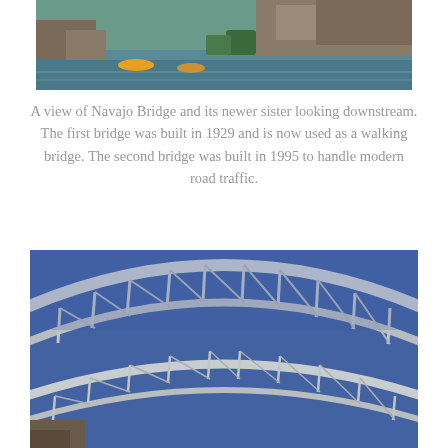[Figure (photo): A view of a river with rafts and rocky terrain visible, looking downstream — top portion of a scenic river photo near Navajo Bridge.]
A view of Navajo Bridge and its newer sister looking downstream. The first bridge was built in 1929 and is now used as a walking bridge. The second bridge was built in 1995 to handle modern road traffic.
[Figure (photo): A close-up view looking up at the steel arch trusses of Navajo Bridge (and its sister bridge) against a clear blue sky, showing the structural steel truss arch framework of two parallel bridges.]